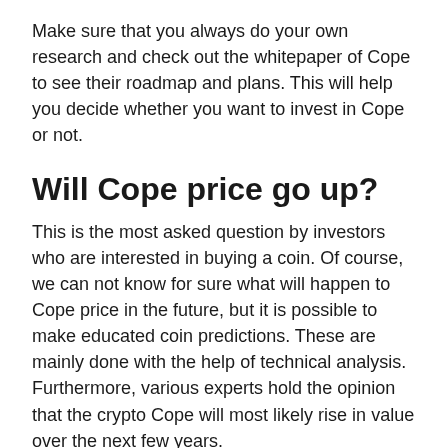Make sure that you always do your own research and check out the whitepaper of Cope to see their roadmap and plans. This will help you decide whether you want to invest in Cope or not.
Will Cope price go up?
This is the most asked question by investors who are interested in buying a coin. Of course, we can not know for sure what will happen to Cope price in the future, but it is possible to make educated coin predictions. These are mainly done with the help of technical analysis. Furthermore, various experts hold the opinion that the crypto Cope will most likely rise in value over the next few years.
Our team also believes that Cope has a lot of potential, and much more room to grow. Taking all these factors into consideration, it is safe to assume that the coin price may